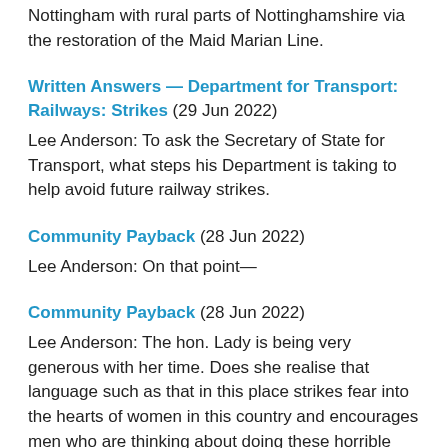Nottingham with rural parts of Nottinghamshire via the restoration of the Maid Marian Line.
Written Answers — Department for Transport: Railways: Strikes (29 Jun 2022)
Lee Anderson: To ask the Secretary of State for Transport, what steps his Department is taking to help avoid future railway strikes.
Community Payback (28 Jun 2022)
Lee Anderson: On that point—
Community Payback (28 Jun 2022)
Lee Anderson: The hon. Lady is being very generous with her time. Does she realise that language such as that in this place strikes fear into the hearts of women in this country and encourages men who are thinking about doing these horrible crimes to go out and commit them? It is absolutely shocking. She should retract what she said.